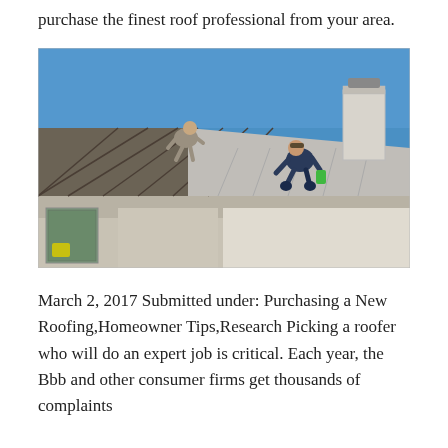purchase the finest roof professional from your area.
[Figure (photo): Two workers installing a metal roof on a house. One worker is crouched near the peak, another is working lower on the slope. A chimney is visible in the upper right. Blue sky background.]
March 2, 2017 Submitted under: Purchasing a New Roofing,Homeowner Tips,Research Picking a roofer who will do an expert job is critical. Each year, the Bbb and other consumer firms get thousands of complaints